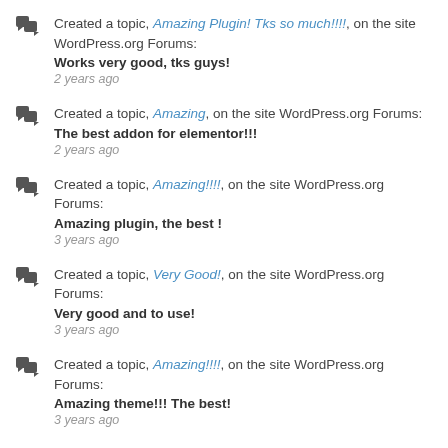Created a topic, Amazing Plugin! Tks so much!!!!, on the site WordPress.org Forums:
Works very good, tks guys!
2 years ago
Created a topic, Amazing, on the site WordPress.org Forums:
The best addon for elementor!!!
2 years ago
Created a topic, Amazing!!!!, on the site WordPress.org Forums:
Amazing plugin, the best !
3 years ago
Created a topic, Very Good!, on the site WordPress.org Forums:
Very good and to use!
3 years ago
Created a topic, Amazing!!!!, on the site WordPress.org Forums:
Amazing theme!!! The best!
3 years ago